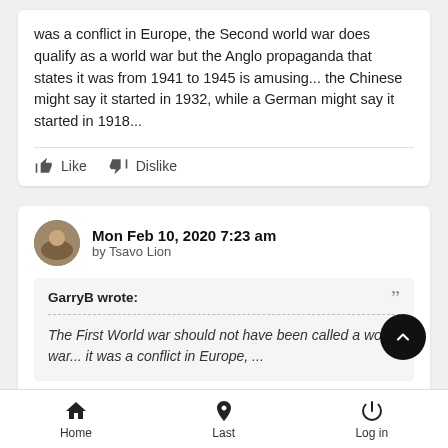was a conflict in Europe, the Second world war does qualify as a world war but the Anglo propaganda that states it was from 1941 to 1945 is amusing... the Chinese might say it started in 1932, while a German might say it started in 1918...
Like   Dislike
Mon Feb 10, 2020 7:23 am
by Tsavo Lion
GarryB wrote:
The First World war should not have been called a world war... it was a conflict in Europe, ...
Not only:
Home   Last   Log in